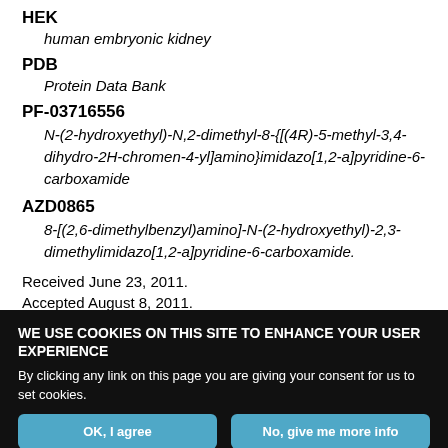HEK
  human embryonic kidney
PDB
  Protein Data Bank
PF-03716556
  N-(2-hydroxyethyl)-N,2-dimethyl-8-{[(4R)-5-methyl-3,4-dihydro-2H-chromen-4-yl]amino}imidazo[1,2-a]pyridine-6-carboxamide
AZD0865
  8-[(2,6-dimethylbenzyl)amino]-N-(2-hydroxyethyl)-2,3-dimethylimidazo[1,2-a]pyridine-6-carboxamide.
Received June 23, 2011.
Accepted August 8, 2011.
WE USE COOKIES ON THIS SITE TO ENHANCE YOUR USER EXPERIENCE
By clicking any link on this page you are giving your consent for us to set cookies.
OK, I agree
No, give me more info